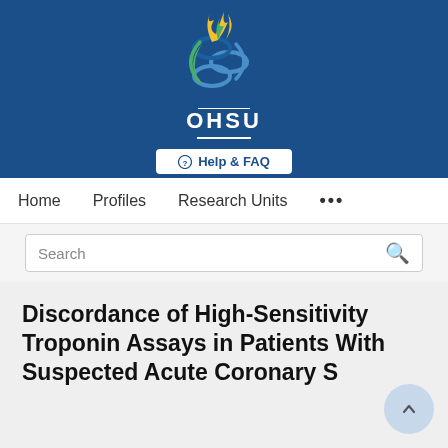[Figure (logo): OHSU (Oregon Health & Science University) logo with blue background, DNA-helix and flame icon in blue, green, and gold colors, with 'OHSU' wordmark in white and a 'Help & FAQ' button]
Home   Profiles   Research Units   ...
Search
Discordance of High-Sensitivity Troponin Assays in Patients With Suspected Acute Coronary S...